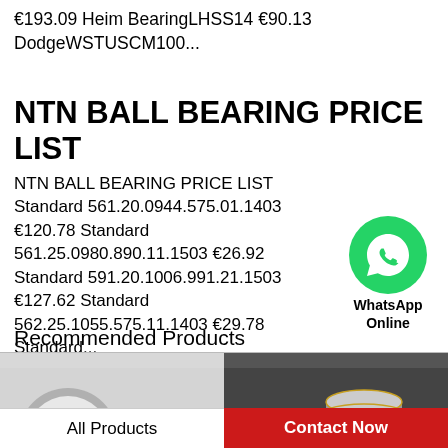€193.09 Heim BearingLHSS14 €90.13 DodgeWSTUSCM100...
NTN BALL BEARING PRICE LIST
NTN BALL BEARING PRICE LIST Standard 561.20.0944.575.01.1403 €120.78 Standard 561.25.0980.890.11.1503 €26.92 Standard 591.20.1006.991.21.1503 €127.62 Standard 562.25.1055.575.11.1403 €29.78 Standard...
[Figure (illustration): WhatsApp Online green circle chat icon with WhatsApp Online label]
Recommended Products
[Figure (photo): Ball bearings on gray background - round steel bearing components]
[Figure (photo): Multiple cylindrical/roller bearings stacked on dark background]
All Products
Contact Now